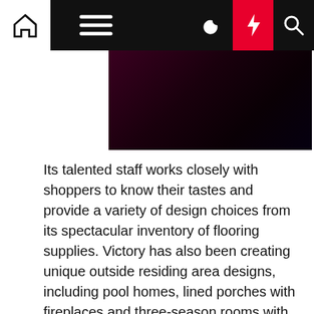[Figure (screenshot): Website navigation bar with home icon, hamburger menu, moon icon, red lightning bolt button, and search icon on black background]
[Figure (photo): Dark reddish-black image, appears to be a partially visible photograph with dark tones]
Its talented staff works closely with shoppers to know their tastes and provide a variety of design choices from its spectacular inventory of flooring supplies. Victory has also been creating unique outside residing area designs, including pool homes, lined porches with fireplaces and three-season rooms with both screens or foldable glass walls. Through individualized consultations, the professionals at Window Design Center will assist you in a house refresh by bringing the outdoors House & Home Improvement inside through new home windows or sliding doorways. Or maybe you might be considering altering your room's site visitors move and need expert perception on the